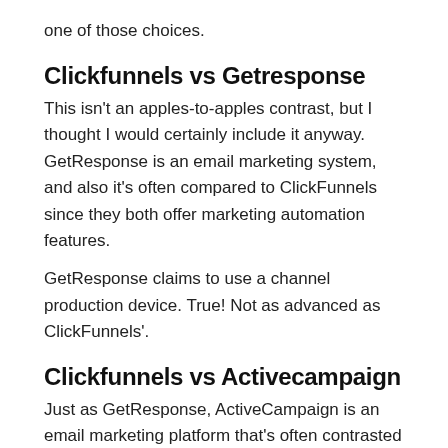one of those choices.
Clickfunnels vs Getresponse
This isn't an apples-to-apples contrast, but I thought I would certainly include it anyway. GetResponse is an email marketing system, and also it's often compared to ClickFunnels since they both offer marketing automation features.
GetResponse claims to use a channel production device. True! Not as advanced as ClickFunnels'.
Clickfunnels vs Activecampaign
Just as GetResponse, ActiveCampaign is an email marketing platform that's often contrasted to